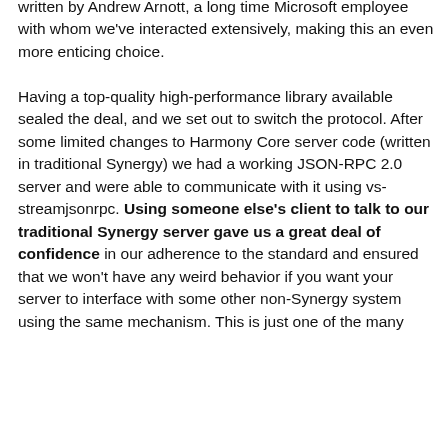written by Andrew Arnott, a long time Microsoft employee with whom we've interacted extensively, making this an even more enticing choice.

Having a top-quality high-performance library available sealed the deal, and we set out to switch the protocol. After some limited changes to Harmony Core server code (written in traditional Synergy) we had a working JSON-RPC 2.0 server and were able to communicate with it using vs-streamjsonrpc. Using someone else's client to talk to our traditional Synergy server gave us a great deal of confidence in our adherence to the standard and ensured that we won't have any weird behavior if you want your server to interface with some other non-Synergy system using the same mechanism. This is just one of the many